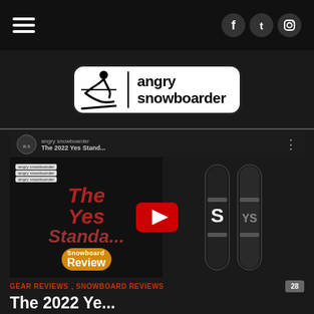angry snowboarder - navigation bar with hamburger menu and social icons
[Figure (logo): Angry Snowboarder logo with snowboarder silhouette and text 'angry snowboarder' in a rounded rectangle]
[Figure (screenshot): YouTube video thumbnail for 'The 2022 Yes Stand... Snowboard Review' by angry snowboarder channel, showing text overlay 'The Yes Standa Snowboard Review' with play button and snowboard image on right]
GEAR REVIEWS, SNOWBOARD REVIEWS 28
The 2022 Ye...